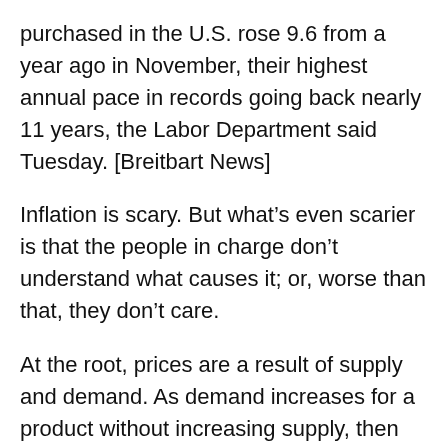purchased in the U.S. rose 9.6 from a year ago in November, their highest annual pace in records going back nearly 11 years, the Labor Department said Tuesday. [Breitbart News]
Inflation is scary. But what’s even scarier is that the people in charge don’t understand what causes it; or, worse than that, they don’t care.
At the root, prices are a result of supply and demand. As demand increases for a product without increasing supply, then prices will go up. As the market provides more of that product, and demand stays the same, then prices will go down. It’s a constant fluctuation, in most cases.
High or low prices are not simply a function of whether people charging for their goods and services are “mean”